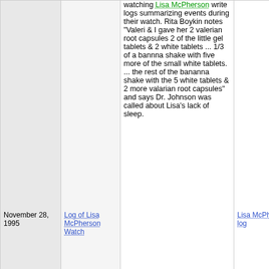| Date | Source | Description | Tags |
| --- | --- | --- | --- |
| November 28, 1995 | Log of Lisa McPherson Watch | watching Lisa McPherson write logs summarizing events during their watch. Rita Boykin notes "Valeri & I gave her 2 valerian root capsules 2 of the little gel tablets & 2 white tablets ... 1/3 of a bannna shake with five more of the small white tablets. ... the rest of the bananna shake with the 5 white tablets & 2 more valarian root capsules" and says Dr. Johnson was called about Lisa's lack of sleep. | Lisa McPherson, log |
| November 27, 1995 | Log of Lisa McPherson Watch | Scientologists watch over Lisa McPherson, held captive at the Fort Harrison hotel: | Lisa McPherson, log |